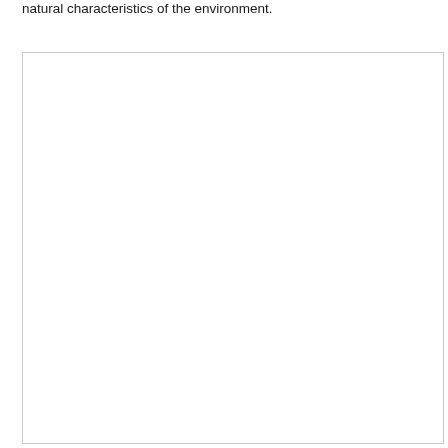natural characteristics of the environment.
[Figure (other): Large empty white box with light gray border, presumably a placeholder for a figure or image related to natural characteristics of the environment.]